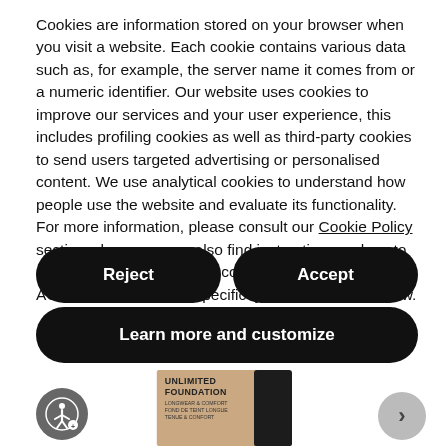Cookies are information stored on your browser when you visit a website. Each cookie contains various data such as, for example, the server name it comes from or a numeric identifier. Our website uses cookies to improve our services and your user experience, this includes profiling cookies as well as third-party cookies to send users targeted advertising or personalised content. We use analytical cookies to understand how people use the website and evaluate its functionality. For more information, please consult our Cookie Policy section where you can also find instructions on how to disable cookies. Accept all cookies by clicking on ACCEPT, or select the specific types you'd like to allow.
Reject
Accept
Learn more and customize
[Figure (photo): Product image of UNLIMITED FOUNDATION with a tan/beige bottle and a dark bottle beside it, partially visible at the bottom of the page.]